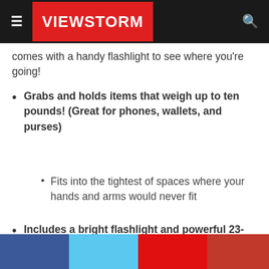VIEWSTORM
comes with a handy flashlight to see where you're going!
Grabs and holds items that weigh up to ten pounds! (Great for phones, wallets, and purses)
Fits into the tightest of spaces where your hands and arms would never fit
Includes a bright flashlight and powerful 23-inch magnet
[Figure (other): Social media share buttons: Facebook (blue), Twitter (light blue), YouTube (red), Pinterest (dark red)]